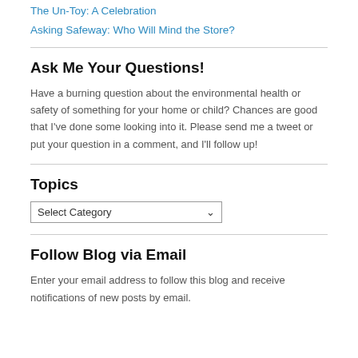The Un-Toy: A Celebration
Asking Safeway: Who Will Mind the Store?
Ask Me Your Questions!
Have a burning question about the environmental health or safety of something for your home or child? Chances are good that I've done some looking into it. Please send me a tweet or put your question in a comment, and I'll follow up!
Topics
Select Category
Follow Blog via Email
Enter your email address to follow this blog and receive notifications of new posts by email.